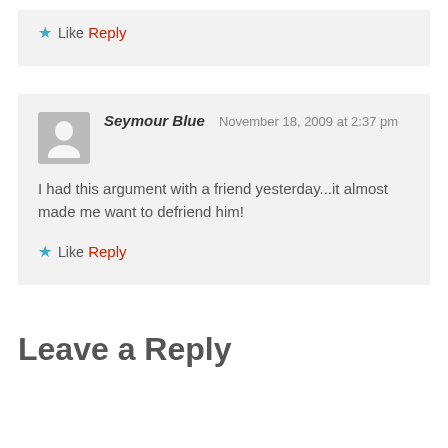Like
Reply
Seymour Blue  November 18, 2009 at 2:37 pm
I had this argument with a friend yesterday...it almost made me want to defriend him!
Like
Reply
Leave a Reply